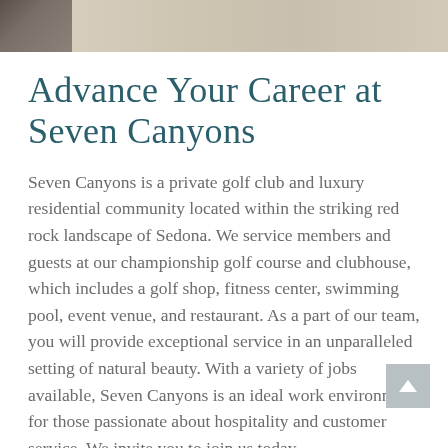[Figure (photo): Photo strip at top of page showing partial images — left portion shows a dark metallic/vehicle detail, right portion shows light-colored pebbles or stones]
Advance Your Career at Seven Canyons
Seven Canyons is a private golf club and luxury residential community located within the striking red rock landscape of Sedona. We service members and guests at our championship golf course and clubhouse, which includes a golf shop, fitness center, swimming pool, event venue, and restaurant. As a part of our team, you will provide exceptional service in an unparalleled setting of natural beauty. With a variety of jobs available, Seven Canyons is an ideal work environment for those passionate about hospitality and customer service. We invite you to join us today.